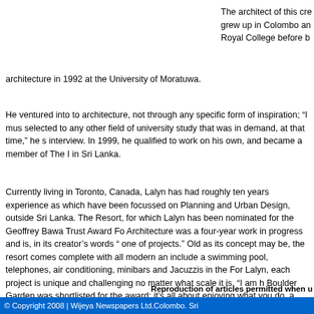The architect of this cre grew up in Colombo an Royal College before b architecture in 1992 at the University of Moratuwa.
He ventured into to architecture, not through any specific form of inspiration; “I mus selected to any other field of university study that was in demand, at that time,” he s interview. In 1999, he qualified to work on his own, and became a member of The I in Sri Lanka.
Currently living in Toronto, Canada, Lalyn has had roughly ten years experience as which have been focussed on Planning and Urban Design, outside Sri Lanka. The Resort, for which Lalyn has been nominated for the Geoffrey Bawa Trust Award Fo Architecture was a four-year work in progress and is, in its creator’s words “ one of projects.” Old as its concept may be, the resort comes complete with all modern an include a swimming pool, telephones, air conditioning, minibars and Jacuzzis in the For Lalyn, each project is unique and challenging no matter what scale it is. “I am h Boulder Garden was shortlisted for the award; it’s all about enjoying what you do, a that.”
To |    E-mail | views[1]
Reproduction of articles permitted when u
© Copyright 2008 | Wijeya Newspapers Ltd.Colombo. Sri